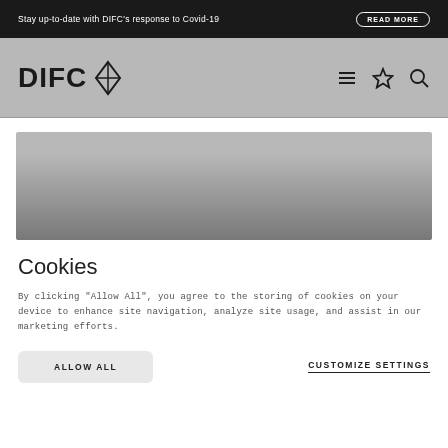Stay up-to-date with DIFC's response to Covid-19   READ MORE
[Figure (logo): DIFC logo with diamond/chevron symbol in navigation bar with hamburger menu, star, and search icons]
[Figure (photo): Hero image placeholder — large gray rectangular area]
Cookies
By clicking "Allow All", you agree to the storing of cookies on your device to enhance site navigation, analyze site usage, and assist in our marketing efforts.
ALLOW ALL
CUSTOMIZE SETTINGS